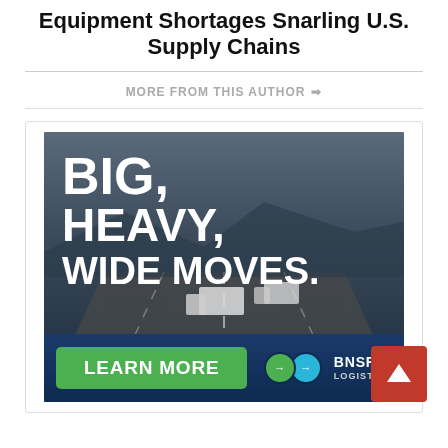Equipment Shortages Snarling U.S. Supply Chains
MORE FROM THIS AUTHOR →
[Figure (illustration): BNSF Logistics advertisement showing trucks on a highway with text 'BIG, HEAVY, WIDE MOVES.' and a green 'LEARN MORE' button with BNSF Logistics logo.]